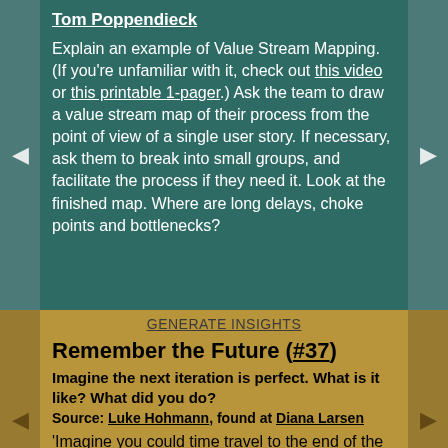Tom Poppendieck
Explain an example of Value Stream Mapping. (If you're unfamiliar with it, check out this video or this printable 1-pager.) Ask the team to draw a value stream map of their process from the point of view of a single user story. If necessary, ask them to break into small groups, and facilitate the process if they need it. Look at the finished map. Where are long delays, choke points and bottlenecks?
GENERATE INSIGHTS
Remember the Future (#37)
Imagine the next iteration is perfect. What is it like? What did you do?
Source: Luke Hohmann, found at Diana Larsen
'Imagine you could time travel to the end of the next iteration (or release). You learn that it was the best, most productive iteration yet! How do your future selves describe it? What do...